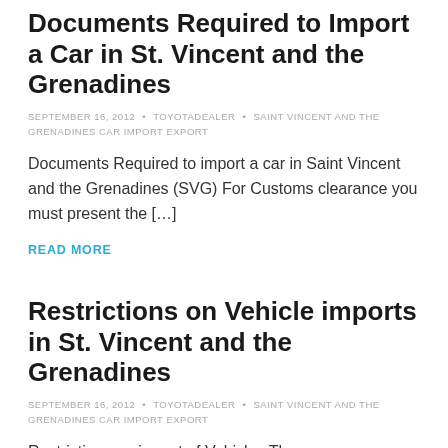Documents Required to Import a Car in St. Vincent and the Grenadines
SEPTEMBER 16, 2012 • TOYOTADEALER • SAINT VINCENT AND THE GRENADINES CAR IMPORT EXPORT
Documents Required to import a car in Saint Vincent and the Grenadines (SVG) For Customs clearance you must present the […]
READ MORE
Restrictions on Vehicle imports in St. Vincent and the Grenadines
SEPTEMBER 16, 2012 • TOYOTADEALER • SAINT VINCENT AND THE GRENADINES CAR IMPORT EXPORT
Restrictions on import of Vehicles There are no prohibitions on the importation of vehicles from any country. However, there is […]